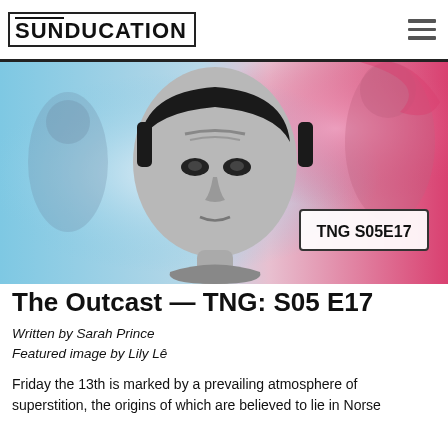SUNDUCATION
[Figure (photo): Black and white close-up photo of an alien character from Star Trek TNG, with colorful blue and pink cosmic background. Episode badge reading 'TNG S05E17' in lower right.]
The Outcast — TNG: S05 E17
Written by Sarah Prince
Featured image by Lily Lê
Friday the 13th is marked by a prevailing atmosphere of superstition, the origins of which are believed to lie in Norse